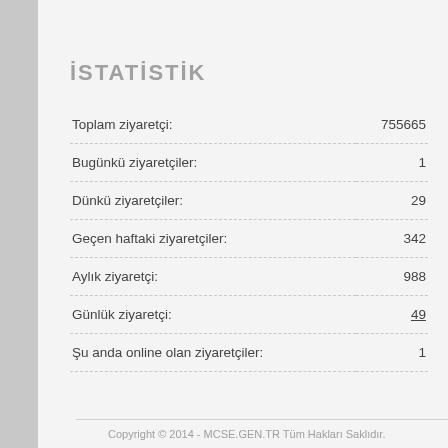İSTATİSTİK
| Label | Value |
| --- | --- |
| Toplam ziyaretçi: | 755665 |
| Bugünkü ziyaretçiler: | 1 |
| Dünkü ziyaretçiler: | 29 |
| Geçen haftaki ziyaretçiler: | 342 |
| Aylık ziyaretçi: | 988 |
| Günlük ziyaretçi: | 49 |
| Şu anda online olan ziyaretçiler: | 1 |
Copyright © 2014 - MCSE.GEN.TR Tüm Hakları Saklıdır.